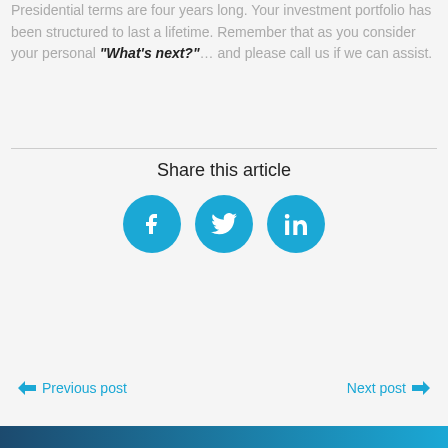Presidential terms are four years long. Your investment portfolio has been structured to last a lifetime. Remember that as you consider your personal "What's next?"… and please call us if we can assist.
Share this article
[Figure (infographic): Three blue circular social media icons: Facebook (f), Twitter (bird), LinkedIn (in)]
← Previous post    Next post →